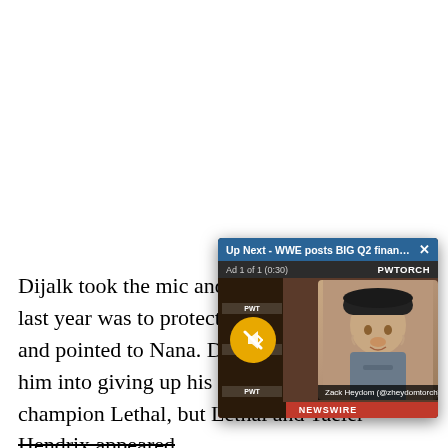Dijalk took the mic and [video overlay] last year was to protect and pointed to Nana. D him into giving up his R champion Lethal, but Lethal and Taeler Hendrix appeared and then marched to the ring. A huge brawl ensued until several ROH officials and security ran down to pull them
[Figure (screenshot): Video overlay popup showing 'Up Next - WWE posts BIG Q2 financials ...' with Ad 1 of 1 (0:30) label, PWTORCH branding, a thumbnail of Zack Heydom (@zheydomtorch) with a yellow mute button, and NEWSWIRE red bar at bottom.]